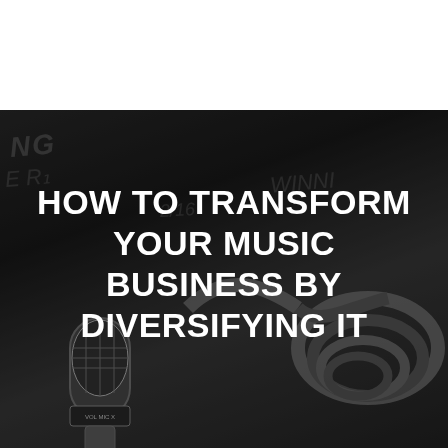[Figure (photo): Dark background photo of a microphone with coiled cables, with chalk-style handwriting visible in the background. White block text overlaid in the center reads: HOW TO TRANSFORM YOUR MUSIC BUSINESS BY DIVERSIFYING IT]
HOW TO TRANSFORM YOUR MUSIC BUSINESS BY DIVERSIFYING IT